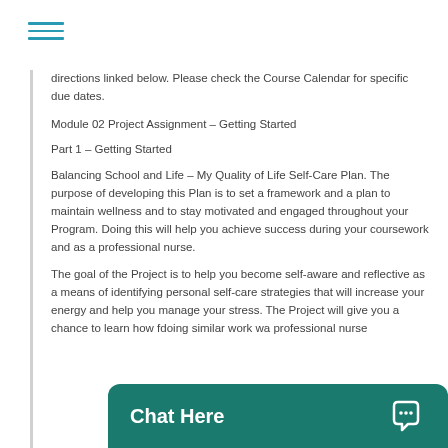≡ (menu icon)
directions linked below. Please check the Course Calendar for specific due dates.
Module 02 Project Assignment – Getting Started
Part 1 – Getting Started
Balancing School and Life – My Quality of Life Self-Care Plan. The purpose of developing this Plan is to set a framework and a plan to maintain wellness and to stay motivated and engaged throughout your Program. Doing this will help you achieve success during your coursework and as a professional nurse.
The goal of the Project is to help you become self-aware and reflective as a means of identifying personal self-care strategies that will increase your energy and help you manage your stress. The Project will give you a chance to learn how [cut off] doing similar work wi[cut off] a professional nurse[cut off]
Chat Here